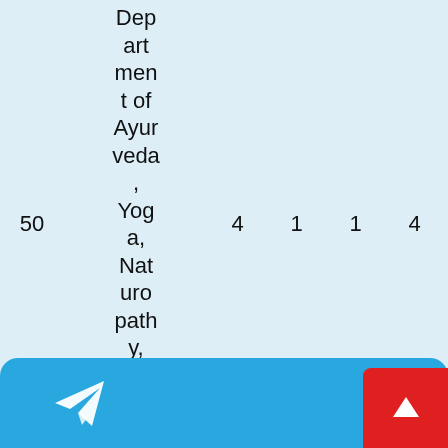| Col1 | Department | Col3 | Col4 | Col5 | Col6 | Col7 |
| --- | --- | --- | --- | --- | --- | --- |
| 50 | Department of Ayurveda, Yoga, Naturopathy, Unani, Sidd | 4 | 1 | 1 | 4 | 20 |